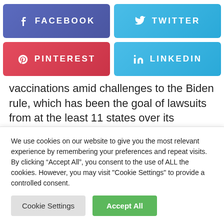[Figure (screenshot): Facebook share button - blue/purple rounded rectangle with Facebook f icon and FACEBOOK text]
[Figure (screenshot): Twitter share button - blue rounded rectangle with Twitter bird icon and TWITTER text]
[Figure (screenshot): Pinterest share button - red rounded rectangle with Pinterest p icon and PINTEREST text]
[Figure (screenshot): LinkedIn share button - blue rounded rectangle with LinkedIn in icon and LINKEDIN text]
vaccinations amid challenges to the Biden rule, which has been the goal of lawsuits from at the least 11 states over its constitutionality. Almost 6 in 10 firms indicated that they both already require COVID-19 photographs for workers or plan to implement such a
We use cookies on our website to give you the most relevant experience by remembering your preferences and repeat visits. By clicking “Accept All”, you consent to the use of ALL the cookies. However, you may visit "Cookie Settings" to provide a controlled consent.
Cookie Settings | Accept All